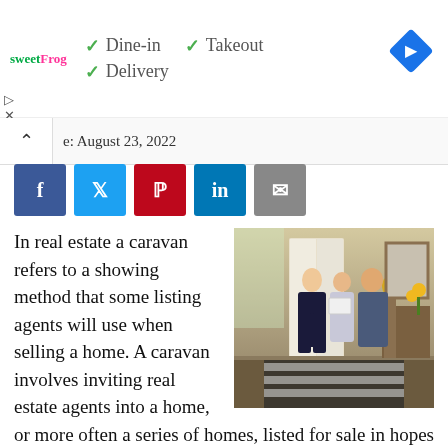[Figure (screenshot): Ad banner showing sweetFrog logo with checkmarks for Dine-in, Takeout, Delivery options, and a blue navigation diamond icon on the right]
e: August 23, 2022
[Figure (infographic): Social sharing buttons: Facebook (blue), Twitter (light blue), Pinterest (red), LinkedIn (dark blue), Email (grey)]
In real estate a caravan refers to a showing method that some listing agents will use when selling a home. A caravan involves inviting real estate agents into a home, or more often a series of homes, listed for sale in hopes to achieve higher visibility and marketing. The sales theory behind a
[Figure (photo): Photo of a real estate agent showing a home to a couple in a bright interior entryway]